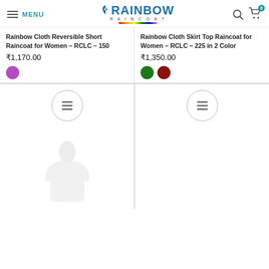MENU | RAINBOW RAINCOAT | 0
Rainbow Cloth Reversible Short Raincoat for Women – RCLC – 150
₹1,170.00
[Figure (illustration): Purple color swatch circle]
Rainbow Cloth Skirt Top Raincoat for Women – RCLC – 225 in 2 Color
₹1,350.00
[Figure (illustration): Green and dark red color swatch circles]
[Figure (illustration): Hamburger menu icon inside a circle (left product)]
[Figure (illustration): Hamburger menu icon inside a circle (right product)]
[Figure (illustration): Faint raincoat product image placeholder (left column)]